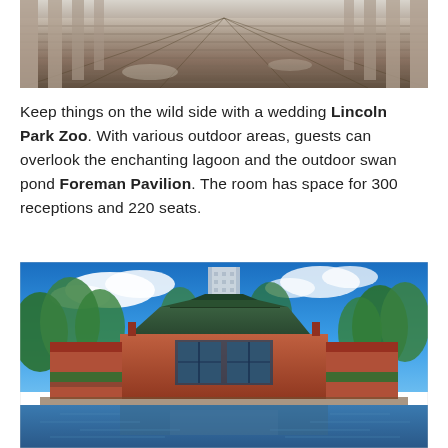[Figure (photo): Outdoor covered wooden deck/pavilion structure with columns and wooden plank flooring, viewed looking outward]
Keep things on the wild side with a wedding Lincoln Park Zoo. With various outdoor areas, guests can overlook the enchanting lagoon and the outdoor swan pond Foreman Pavilion. The room has space for 300 receptions and 220 seats.
[Figure (photo): Exterior view of Lincoln Park Zoo's Foreman Pavilion, a large brick Prairie-style building with green roof, surrounded by lush green trees, reflecting in a lagoon in the foreground, with a tall modern building visible in the background under a blue sky with clouds]